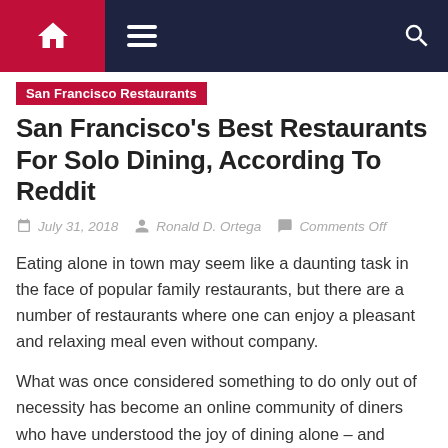San Francisco Restaurants
San Francisco's Best Restaurants For Solo Dining, According To Reddit
July 31, 2018  Ronald D. Ortega  Comments Off
Eating alone in town may seem like a daunting task in the face of popular family restaurants, but there are a number of restaurants where one can enjoy a pleasant and relaxing meal even without company.
What was once considered something to do only out of necessity has become an online community of diners who have understood the joy of dining alone – and sharing those recommendations with each other.
EAT MORE: Bay Area restaurants shine on Bon Appetit's 50 Best Restaurants list